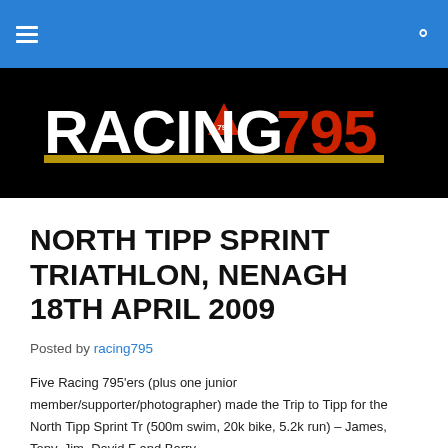Racing795 navigation bar with hamburger menu and search icon
[Figure (logo): Racing 795 logo — white bold text 'RACING' and red bold '795' on black background with gold underline stripe and a red triangle with '795' inside above the underline]
NORTH TIPP SPRINT TRIATHLON, NENAGH 18TH APRIL 2009
Posted by racing795
Five Racing 795'ers (plus one junior member/supporter/photographer) made the Trip to Tipp for the North Tipp Sprint Tr (500m swim, 20k bike, 5.2k run) – James, Tony, Jim, David F and Barry.
The day dawned bright and sunny, with conditions perfect for racing. Tony was first into the pool in